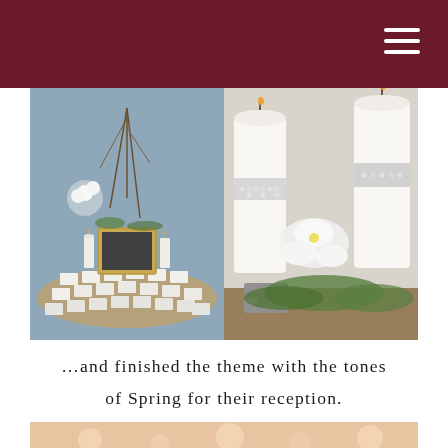[Figure (photo): Left photo: Wedding escort card table with rows of white place cards, a framed black-and-white photo, white flowers, candles and greenery arrangements on a round table]
[Figure (photo): Right photo: Close-up of white pillar candles wrapped with rhinestone/crystal ribbon bands, white orchid flowers and green foliage]
…and finished the theme with the tones of Spring for their reception.
[Figure (photo): Bottom photo: Warm peachy-toned reception venue image, partially visible, showing bokeh lights]